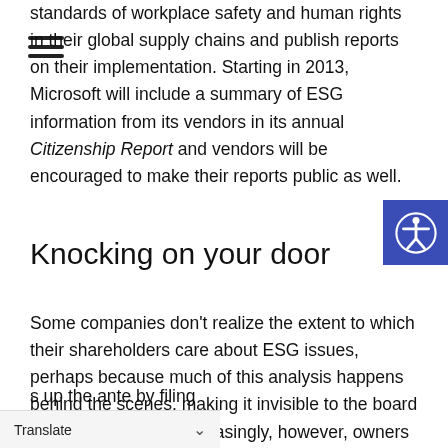standards of workplace safety and human rights in their global supply chains and publish reports on their implementation. Starting in 2013, Microsoft will include a summary of ESG information from its vendors in its annual Citizenship Report and vendors will be encouraged to make their reports public as well.
Knocking on your door
Some companies don't realize the extent to which their shareholders care about ESG issues, perhaps because much of this analysis happens behind the scenes, making it invisible to the board and management. Increasingly, however, owners want to engage with companies on ESG issues.
s up the ante by filing